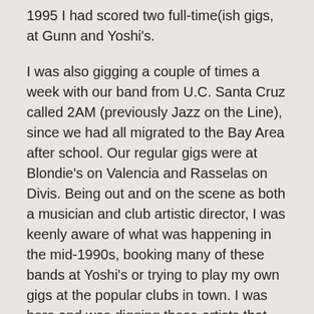1995 I had scored two full-time(ish gigs, at Gunn and Yoshi's.
I was also gigging a couple of times a week with our band from U.C. Santa Cruz called 2AM (previously Jazz on the Line), since we had all migrated to the Bay Area after school. Our regular gigs were at Blondie's on Valencia and Rasselas on Divis. Being out and on the scene as both a musician and club artistic director, I was keenly aware of what was happening in the mid-1990s, booking many of these bands at Yoshi's or trying to play my own gigs at the popular clubs in town. I was here and was digging these artists that are playing this weekend back in the day.
How did you get involved in the Fillmore Jazz Festival?
I had just taken over booking Yoshi's San Francisco in